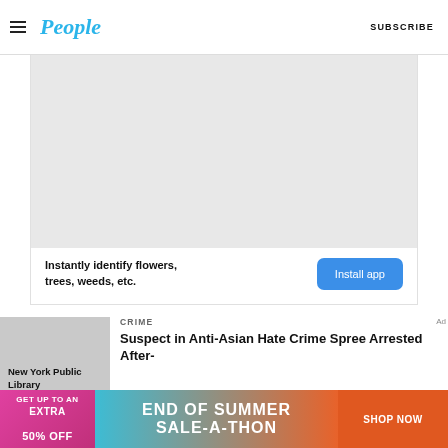People — SUBSCRIBE
[Figure (screenshot): Advertisement with plant identification app — 'Instantly identify flowers, trees, weeds, etc.' with Install app button]
[Figure (photo): Thumbnail image labeled 'New York Public Library']
CRIME
Suspect in Anti-Asian Hate Crime Spree Arrested After-
[Figure (screenshot): Bottom banner advertisement: GET UP TO AN EXTRA 50% OFF — END OF SUMMER SALE-A-THON — SHOP NOW]